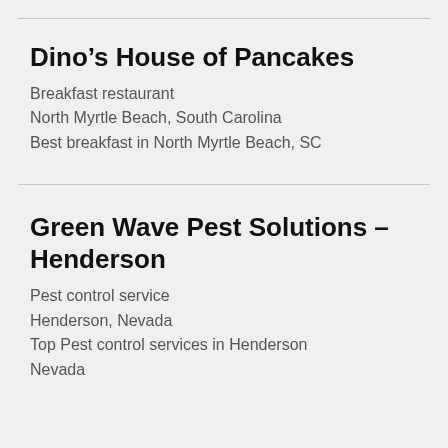Dino’s House of Pancakes
Breakfast restaurant
North Myrtle Beach, South Carolina
Best breakfast in North Myrtle Beach, SC
Green Wave Pest Solutions – Henderson
Pest control service
Henderson, Nevada
Top Pest control services in Henderson Nevada